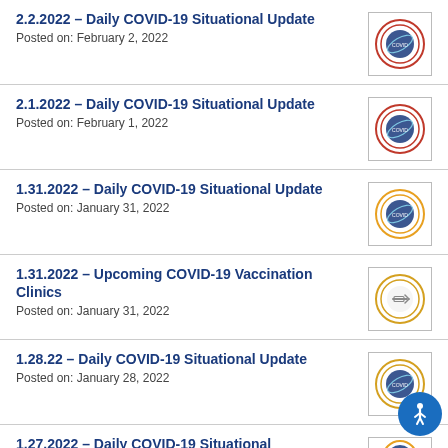2.2.2022 – Daily COVID-19 Situational Update
Posted on: February 2, 2022
2.1.2022 – Daily COVID-19 Situational Update
Posted on: February 1, 2022
1.31.2022 – Daily COVID-19 Situational Update
Posted on: January 31, 2022
1.31.2022 – Upcoming COVID-19 Vaccination Clinics
Posted on: January 31, 2022
1.28.22 – Daily COVID-19 Situational Update
Posted on: January 28, 2022
1.27.2022 – Daily COVID-19 Situational